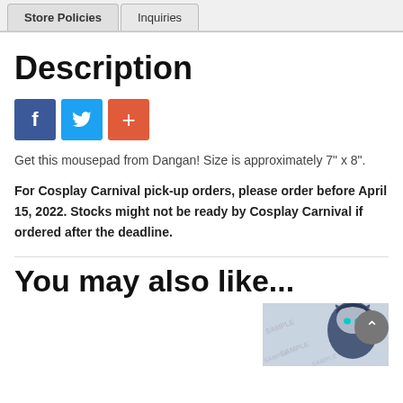Store Policies | Inquiries
Description
[Figure (infographic): Three social share buttons: Facebook (blue), Twitter (light blue), and a red plus/share button]
Get this mousepad from Dangan! Size is approximately 7" x 8".
For Cosplay Carnival pick-up orders, please order before April 15, 2022. Stocks might not be ready by Cosplay Carnival if ordered after the deadline.
You may also like...
[Figure (illustration): Partial view of an anime character illustration with SAMPLE watermark text, showing a character with cat ears and dark hair with teal eyes]